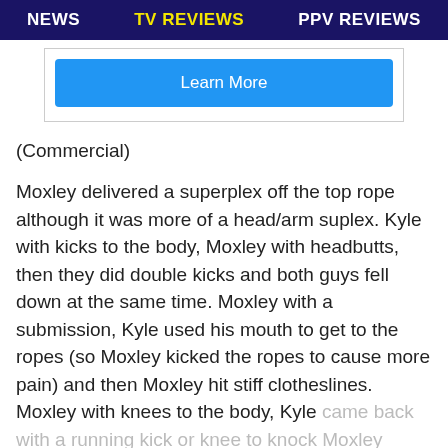NEWS   TV REVIEWS   PPV REVIEWS
[Figure (other): Advertisement box with a blue Learn More button]
(Commercial)
Moxley delivered a superplex off the top rope although it was more of a head/arm suplex. Kyle with kicks to the body, Moxley with headbutts, then they did double kicks and both guys fell down at the same time. Moxley with a submission, Kyle used his mouth to get to the ropes (so Moxley kicked the ropes to cause more pain) and then Moxley hit stiff clotheslines. Moxley with knees to the body, Kyle came back with a running kick or knee to knock Moxley down. Moxley popped back up and hit a